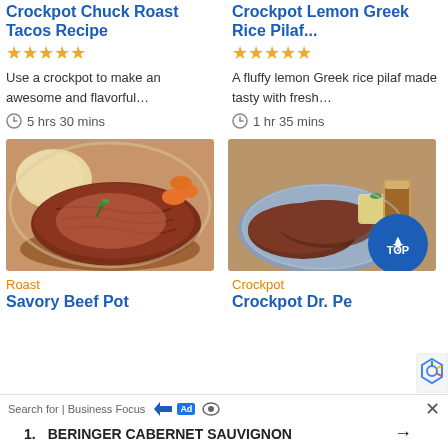Crockpot Chuck Roast Tacos Recipe
★★★★★
Use a crockpot to make an awesome and flavorful…
5 hrs 30 mins
Crockpot Lemon Greek Rice Pilaf...
★★★★★
A fluffy lemon Greek rice pilaf made tasty with fresh…
1 hr 35 mins
[Figure (photo): Photo of a roast beef dish with carrots and mashed potatoes on a plate]
[Figure (photo): Photo of two pieces of roast beef on a blue plate with a side dish and a glass of beer]
Roast
Savory Beef Pot
Crockpot
Crockpot Dr. Pe
Search for | Business Focus  Ad  1. BERINGER CABERNET SAUVIGNON →